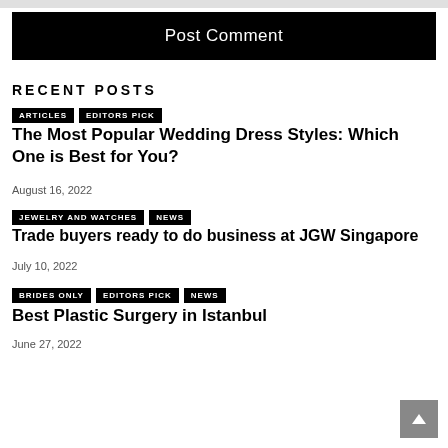Post Comment
RECENT POSTS
ARTICLES | EDITORS PICK
The Most Popular Wedding Dress Styles: Which One is Best for You?
August 16, 2022
JEWELRY AND WATCHES | NEWS
Trade buyers ready to do business at JGW Singapore
July 10, 2022
BRIDES ONLY | EDITORS PICK | NEWS
Best Plastic Surgery in Istanbul
June 27, 2022